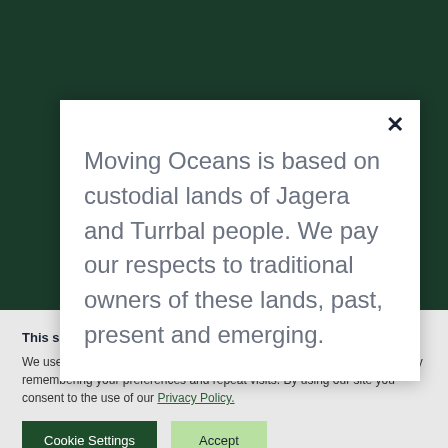[Figure (screenshot): Dark green website background behind a modal dialog]
Moving Oceans is based on custodial lands of Jagera and Turrbal people. We pay our respects to traditional owners of these lands, past, present and emerging.
This site uses cookies.
We use cookies on our website to give you the most relevant experience by remembering your preferences and repeat visits. By using our site you consent to the use of our Privacy Policy.
Cookie Settings
Accept